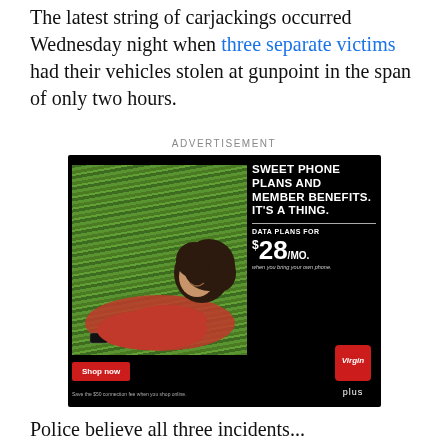The latest string of carjackings occurred Wednesday night when three separate victims had their vehicles stolen at gunpoint in the span of only two hours.
ADVERTISEMENT
[Figure (photo): Advertisement for Virgin Plus featuring a woman lying on grass holding a phone. Text reads: SWEET PHONE PLANS AND MEMBER BENEFITS. IT'S A THING. DATA PLANS FOR $28/MO. Shop now button. Save the $50 connection fee when you shop online.]
Police believe all three incidents...